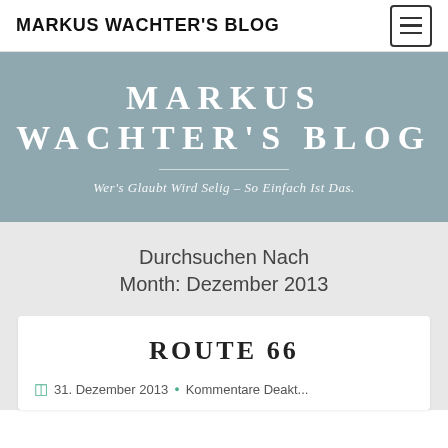MARKUS WACHTER'S BLOG
MARKUS WACHTER'S BLOG
Wer's Glaubt Wird Selig – So Einfach Ist Das.
Durchsuchen Nach Month: Dezember 2013
ROUTE 66